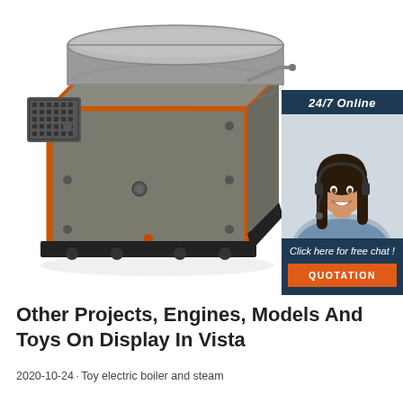[Figure (photo): Industrial steam boiler with orange trim, gray metal body, cylindrical top tank, and exhaust port on the left side, shown in 3D perspective view]
[Figure (infographic): Customer support chat widget with '24/7 Online' header, photo of smiling female customer service agent with headset, 'Click here for free chat!' text, and orange 'QUOTATION' button]
Other Projects, Engines, Models And Toys On Display In Vista
2020-10-24u2002·u2002Toy electric boiler and steam